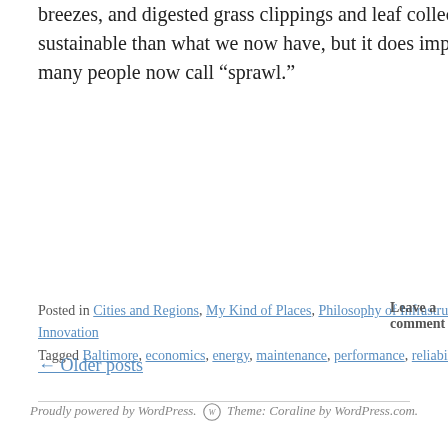breezes, and digested grass clippings and leaf collection is arguably more sustainable than what we now have, but it does imply maintaining what many people now call “sprawl.”
Posted in Cities and Regions, My Kind of Places, Philosophy of Infrastructure, Technology and Innovation
Tagged Baltimore, economics, energy, maintenance, performance, reliability, sustainability, urban
Leave a comment
← Older posts
Proudly powered by WordPress. Theme: Coraline by WordPress.com.